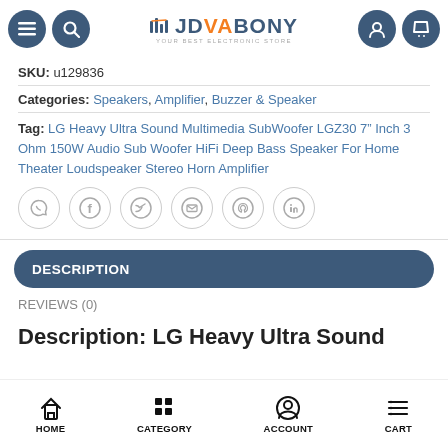JDVABONY - Your Best Electronic Store
SKU: u129836
Categories: Speakers, Amplifier, Buzzer & Speaker
Tag: LG Heavy Ultra Sound Multimedia SubWoofer LGZ30 7" Inch 3 Ohm 150W Audio Sub Woofer HiFi Deep Bass Speaker For Home Theater Loudspeaker Stereo Horn Amplifier
[Figure (other): Social share buttons: WhatsApp, Facebook, Twitter, Email, Pinterest, LinkedIn]
DESCRIPTION
REVIEWS (0)
Description: LG Heavy Ultra Sound
HOME  CATEGORY  ACCOUNT  CART